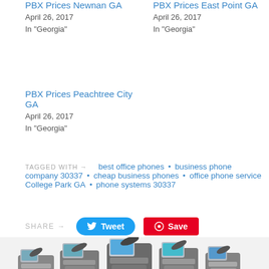PBX Prices Newnan GA
April 26, 2017
In "Georgia"
PBX Prices East Point GA
April 26, 2017
In "Georgia"
PBX Prices Peachtree City GA
April 26, 2017
In "Georgia"
TAGGED WITH → best office phones • business phone company 30337 • cheap business phones • office phone service College Park GA • phone systems 30337
SHARE → Tweet Save
[Figure (photo): Row of office desk phones (IP/PBX phones) arranged in a group, photographed from the front at a slight angle.]